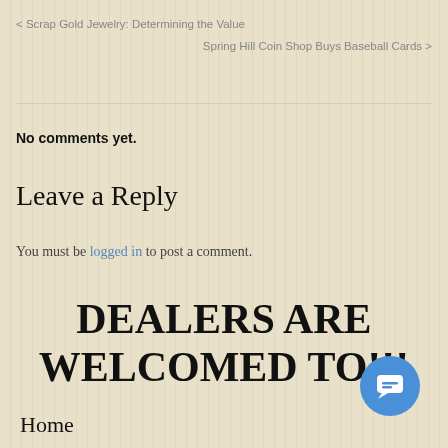< Scrap Gold Jewelry: Determining the Value
Spring Hill Coin Shop Buys Baseball Cards >
No comments yet.
Leave a Reply
You must be logged in to post a comment.
DEALERS ARE WELCOMED TO!!!
Home